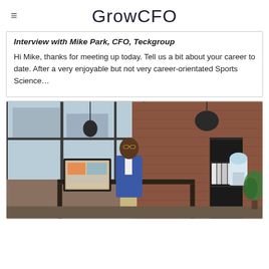GrowCFO
Interview with Mike Park, CFO, Teckgroup
Hi Mike, thanks for meeting up today. Tell us a bit about your career to date. After a very enjoyable but not very career-orientated Sports Science...
[Figure (photo): Man in blue blazer and khaki pants standing at a standing desk in a brick-walled office with large windows, shelving unit, and water cooler in background]